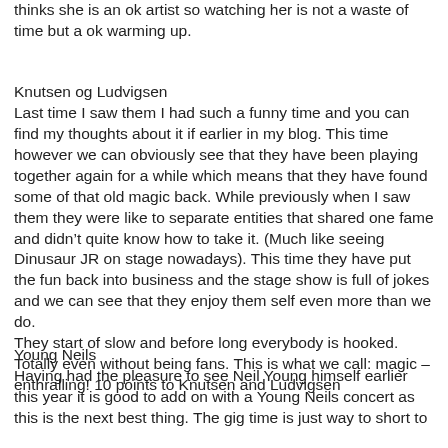thinks she is an ok artist so watching her is not a waste of time but a ok warming up.
Knutsen og Ludvigsen
Last time I saw them I had such a funny time and you can find my thoughts about it if earlier in my blog. This time however we can obviously see that they have been playing together again for a while which means that they have found some of that old magic back. While previously when I saw them they were like to separate entities that shared one fame and didn't quite know how to take it. (Much like seeing Dinusaur JR on stage nowadays). This time they have put the fun back into business and the stage show is full of jokes and we can see that they enjoy them self even more than we do.
They start of slow and before long everybody is hooked. Totally even without being fans. This is what we call: magic – enthralling! 10 points to Knutsen and Ludvigsen
Young Neils
Having had the pleasure to see Neil Young himself earlier this year it is good to add on with a Young Neils concert as this is the next best thing. The gig time is just way to short to